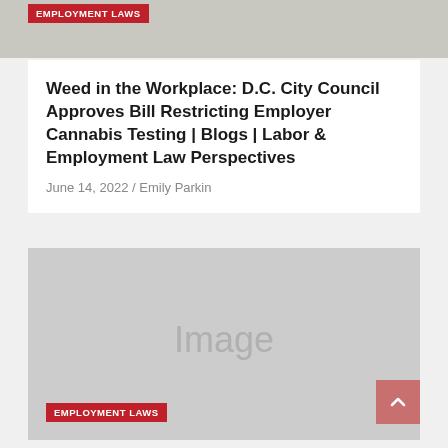[Figure (photo): Top image strip showing partial background image with Employment Laws badge]
Weed in the Workplace: D.C. City Council Approves Bill Restricting Employer Cannabis Testing | Blogs | Labor & Employment Law Perspectives
June 14, 2022 / Emily Parkin
[Figure (photo): Gray image placeholder with Employment Laws badge and scroll-to-top button]
EMPLOYMENT LAWS